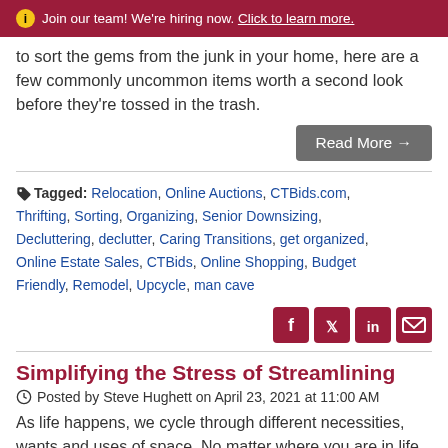ⓘ Join our team! We're hiring now. Click to learn more.
to sort the gems from the junk in your home, here are a few commonly uncommon items worth a second look before they're tossed in the trash.
Read More →
Tagged: Relocation, Online Auctions, CTBids.com, Thrifting, Sorting, Organizing, Senior Downsizing, Decluttering, declutter, Caring Transitions, get organized, Online Estate Sales, CTBids, Online Shopping, Budget Friendly, Remodel, Upcycle, man cave
[Figure (other): Social share icons: Facebook, Twitter, LinkedIn, Email on dark red buttons]
Simplifying the Stress of Streamlining
Posted by Steve Hughett on April 23, 2021 at 11:00 AM
As life happens, we cycle through different necessities, wants and uses of space. No matter where you are in life, at some point you may realize you've ended up with too